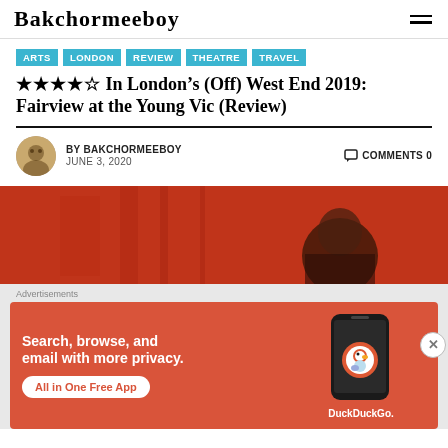Bakchormeeboy
ARTS
LONDON
REVIEW
THEATRE
TRAVEL
★★★★☆ In London's (Off) West End 2019: Fairview at the Young Vic (Review)
BY BAKCHORMEEBOY   COMMENTS 0
JUNE 3, 2020
[Figure (photo): Red-toned theatre photo showing a person partially visible against a red background with architectural elements]
Advertisements
[Figure (other): DuckDuckGo advertisement banner with orange background. Text: Search, browse, and email with more privacy. All in One Free App. Shows phone with DuckDuckGo logo.]